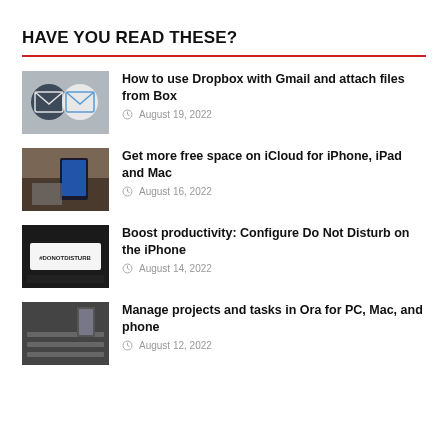HAVE YOU READ THESE?
[Figure (illustration): Two email envelope icons side by side on a gray background]
How to use Dropbox with Gmail and attach files from Box
August 19, 2022
[Figure (photo): iPhone and MacBook laptop on a wooden desk]
Get more free space on iCloud for iPhone, iPad and Mac
August 16, 2022
[Figure (photo): Sign reading #DONOTDISTURB on a dark background]
Boost productivity: Configure Do Not Disturb on the iPhone
August 14, 2022
[Figure (photo): Keyboard and notepad on a desk]
Manage projects and tasks in Ora for PC, Mac, and phone
August 12, 2022